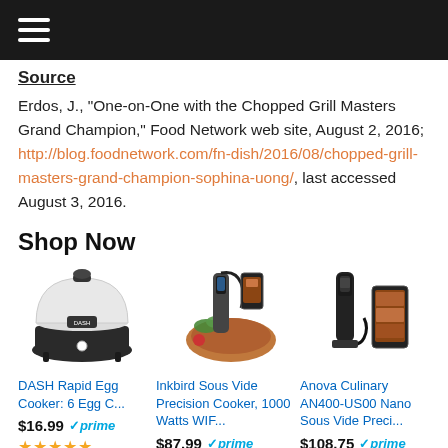☰ (hamburger menu)
Source
Erdos, J., "One-on-One with the Chopped Grill Masters Grand Champion," Food Network web site, August 2, 2016; http://blog.foodnetwork.com/fn-dish/2016/08/chopped-grill-masters-grand-champion-sophina-uong/, last accessed August 3, 2016.
Shop Now
[Figure (photo): DASH Rapid Egg Cooker product image]
DASH Rapid Egg Cooker: 6 Egg C...
$16.99 ✓prime ★★★★★
[Figure (photo): Inkbird Sous Vide Precision Cooker product image]
Inkbird Sous Vide Precision Cooker, 1000 Watts WIF...
$87.99 ✓prime ★★★★
[Figure (photo): Anova Culinary AN400-US00 Nano Sous Vide product image]
Anova Culinary AN400-US00 Nano Sous Vide Preci...
$108.75 ✓prime ★★★★